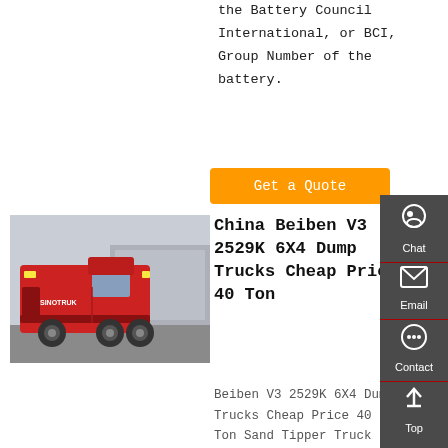the Battery Council International, or BCI, Group Number of the battery.
Get a Quote
[Figure (photo): Red Beiben V3 2529K 6X4 dump/tractor truck parked in a yard with other trucks and buildings in background]
China Beiben V3 2529K 6X4 Dump Trucks Cheap Price 40 Ton
Beiben V3 2529K 6X4 Dump Trucks Cheap Price 40 Ton Sand Tipper Truck serious 8x4 dump truck, the design principle is